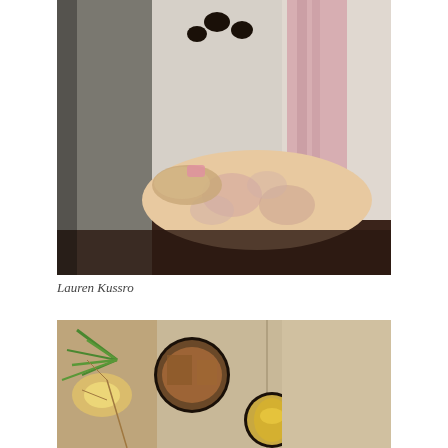[Figure (photo): Interior of a small room or playhouse built from cardboard/panels, showing a floral-patterned mat/cushion on the floor, a pink curtain on the right side, and circular cutout holes near the top of the back wall. Dark floor visible in foreground.]
Lauren Kussro
[Figure (photo): Close-up of a panel wall with two circular cutout holes/windows. Through the holes and to the left, green plant leaves and warm glowing lights are visible. A gold-colored door knob or latch is visible on the right hole. Beige/tan panel surface dominates the frame.]